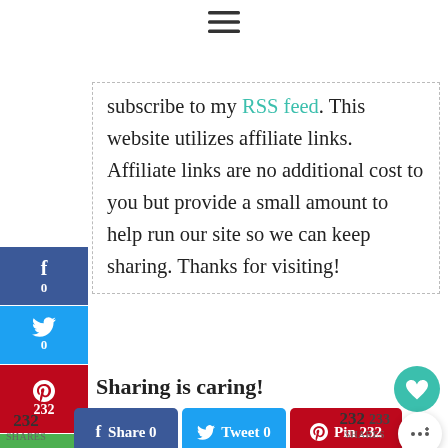[Figure (other): Hamburger menu icon (three horizontal lines)]
subscribe to my RSS feed. This website utilizes affiliate links. Affiliate links are no additional cost to you but provide a small amount to help run our site so we can keep sharing. Thanks for visiting!
[Figure (other): Social sharing sidebar buttons: Facebook (f, 0), Twitter (bird, 0), Pinterest (P, 232), Email (envelope)]
Sharing is caring!
[Figure (other): Social share buttons row: Share 0 (Facebook), Tweet 0 (Twitter), Pin 232 (Pinterest), share count 232/SHARES, 233, heart button, more share button]
My husband works long hours.  We have four children with various activities.  We do not